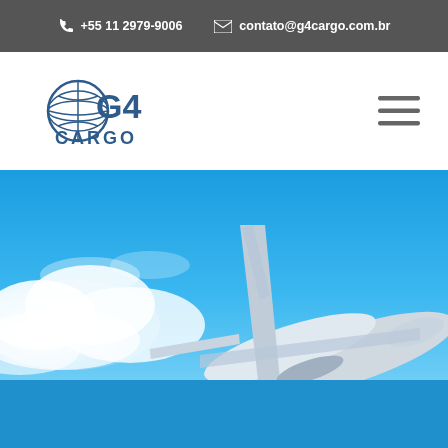+55 11 2979-9006   contato@g4cargo.com.br
[Figure (logo): G4 Cargo company logo with globe icon and text G4 CARGO]
[Figure (photo): Airplane nose and tail fin emerging from clouds against blue sky background]